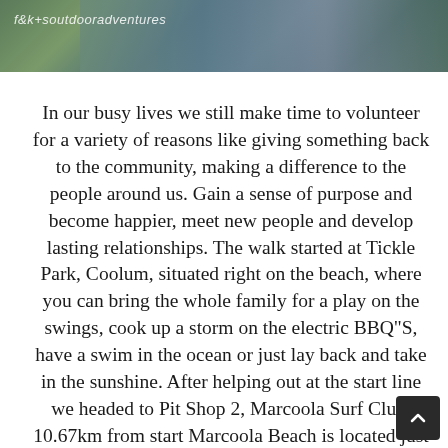[Figure (photo): Partial photo of people standing outdoors, with watermark text 'f&k+soutdooradventures' in the lower-left corner. The image is cropped showing the lower bodies of several people in active/outdoor clothing.]
In our busy lives we still make time to volunteer for a variety of reasons like giving something back to the community, making a difference to the people around us. Gain a sense of purpose and become happier, meet new people and develop lasting relationships. The walk started at Tickle Park, Coolum, situated right on the beach, where you can bring the whole family for a play on the swings, cook up a storm on the electric BBQ"S, have a swim in the ocean or just lay back and take in the sunshine. After helping out at the start line we headed to Pit Shop 2, Marcoola Surf Club. 10.67km from start Marcoola Beach is located just north of Maroochy River and boasts quiet uncrowded beaches, which are best suited for serious surfers and walkers